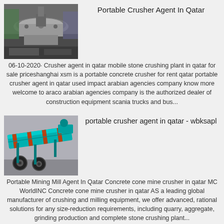[Figure (photo): Industrial machinery, crusher equipment in a factory setting]
Portable Crusher Agent In Qatar
06-10-2020· Crusher agent in qatar mobile stone crushing plant in qatar for sale priceshanghai xsm is a portable concrete crusher for rent qatar portable crusher agent in qatar used impact arabian agencies company know more welcome to araco arabian agencies company is the authorized dealer of construction equipment scania trucks and bus...
[Figure (illustration): 3D rendering of a portable crusher/conveyor machine in teal/cyan color]
portable crusher agent in qatar - wbksapl
Portable Mining Mill Agent In Qatar Concrete cone mine crusher in qatar MC WorldINC Concrete cone mine crusher in qatar AS a leading global manufacturer of crushing and milling equipment, we offer advanced, rational solutions for any size-reduction requirements, including quarry, aggregate, grinding production and complete stone crushing plant...